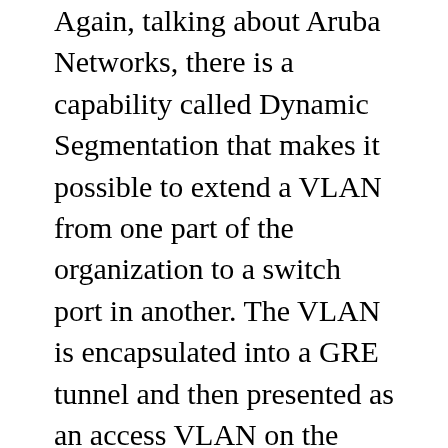Again, talking about Aruba Networks, there is a capability called Dynamic Segmentation that makes it possible to extend a VLAN from one part of the organization to a switch port in another. The VLAN is encapsulated into a GRE tunnel and then presented as an access VLAN on the switch at the far end. Dynamic Segmentation uses an Aruba wireless controller to forward tunneled traffic to the remote switch in the same way that it dynamically selects and tunnels a VLAN for a wireless user. Combining Dynamic Segmentation with a segmented network makes it possible to secure a network against itself yet still allow for exceptions for administrators and staff.
I mentioned layer-2 filtering with a core firewall, above. Aruba (again) recently acquired a company called Pensando that makes custom silicon for securing flows deep in the core. It is now available in the Aruba CX 10000 series switch (that lists for over $50K). We...